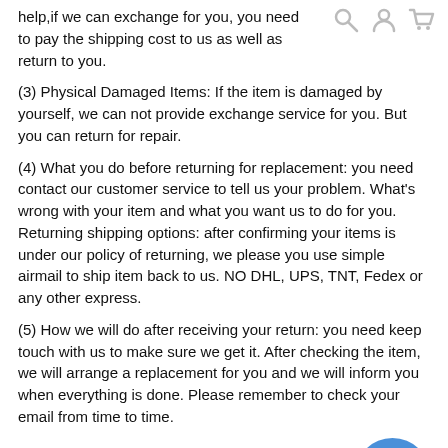help,if we can exchange for you, you need to pay the shipping cost to us as well as return to you.
(3) Physical Damaged Items: If the item is damaged by yourself, we can not provide exchange service for you. But you can return for repair.
(4) What you do before returning for replacement: you need contact our customer service to tell us your problem. What's wrong with your item and what you want us to do for you.
Returning shipping options: after confirming your items is under our policy of returning, we please you use simple airmail to ship item back to us. NO DHL, UPS, TNT, Fedex or any other express.
(5) How we will do after receiving your return: you need keep touch with us to make sure we get it. After checking the item, we will arrange a replacement for you and we will inform you when everything is done. Please remember to check your email from time to time.
4. How to Return the Items
After all details confirmed by sales and agreed to return back the items, please help to follow the return process provided.
Our free return window will be opened  for 30 working days after package delivery.
Please contact our customer service for detail return address.